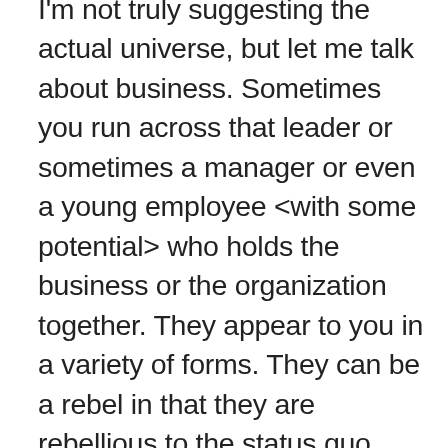I'm not truly suggesting the actual universe, but let me talk about business. Sometimes you run across that leader or sometimes a manager or even a young employee <with some potential> who holds the business or the organization together. They appear to you in a variety of forms. They can be a rebel in that they are rebellious to the status quo every inch of the way toward their version of outputs. Some just effectively juggle the efficiency/effective balance. Others learn to weave a strong thread of thinking time into what they do, unseen, and produce a